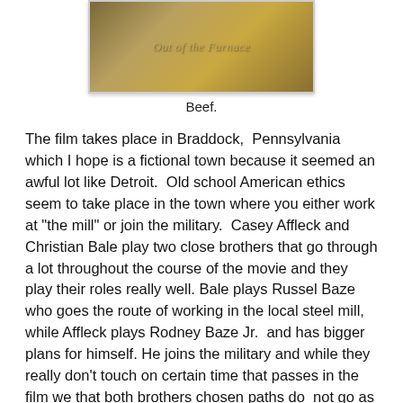[Figure (photo): A still from the movie 'Out of the Furnace' showing two people facing each other with warm/golden tones, with the film title overlaid in semi-transparent text.]
Beef.
The film takes place in Braddock, Pennsylvania which I hope is a fictional town because it seemed an awful lot like Detroit. Old school American ethics seem to take place in the town where you either work at "the mill" or join the military. Casey Affleck and Christian Bale play two close brothers that go through a lot throughout the course of the movie and they play their roles really well. Bale plays Russel Baze who goes the route of working in the local steel mill, while Affleck plays Rodney Baze Jr. and has bigger plans for himself. He joins the military and while they really don't touch on certain time that passes in the film we that both brothers chosen paths do not go as according to plan as they would like. If there is a "bad guy" in this film it's Woody Harrelson, he plays Harlan De Groat and he may as well be playing a villain on Justified. He's just as bad as any of the characters from that show and dresses just as dirty. His